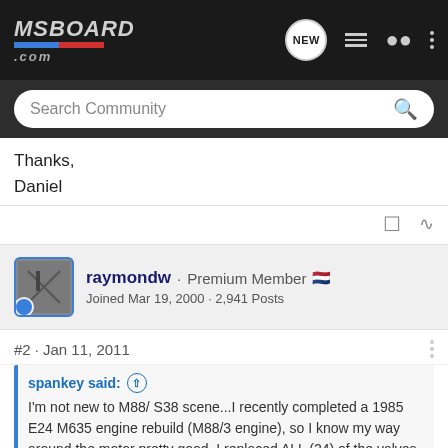MSBOARD.com
Thanks,
Daniel
raymondw · Premium Member
Joined Mar 19, 2000 · 2,941 Posts
#2 · Jan 11, 2011
spankey said:
I'm not new to M88/ S38 scene...I recently completed a 1985 E24 M635 engine rebuild (M88/3 engine), so I know my way around the motor pretty good. I replaced ALL (24) of the valves on that rebuild,